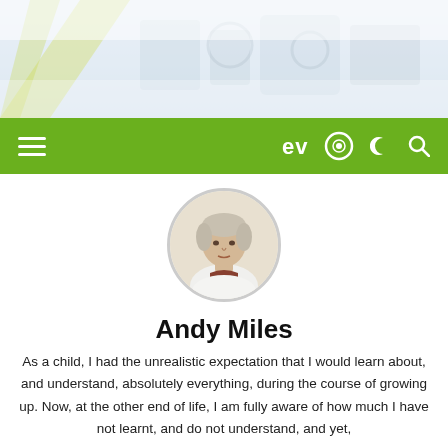[Figure (photo): Header banner showing an industrial/factory environment, faded and light-colored]
EVO navigation bar with hamburger menu, EVO logo, moon icon, and search icon
[Figure (photo): Circular portrait photo of Andy Miles, a middle-aged man with light hair wearing a white shirt]
Andy Miles
As a child, I had the unrealistic expectation that I would learn about, and understand, absolutely everything, during the course of growing up. Now, at the other end of life, I am fully aware of how much I have not learnt, and do not understand, and yet,